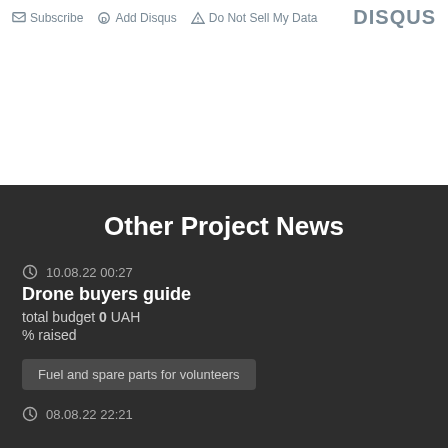Subscribe  Add Disqus  Do Not Sell My Data   DISQUS
Other Project News
10.08.22 00:27
Drone buyers guide
total budget 0 UAH
% raised
Fuel and spare parts for volunteers
08.08.22 22:21